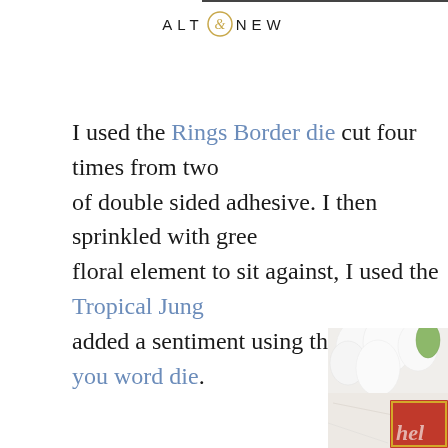ALTENEW
I used the Rings Border die cut four times from two of double sided adhesive. I then sprinkled with gree floral element to sit against, I used the Tropical Jung added a sentiment using the All about you word die.
[Figure (photo): Close-up photo of white flowers on a marble surface with a red card partially visible in the lower right corner showing text 'hel' (hello)]